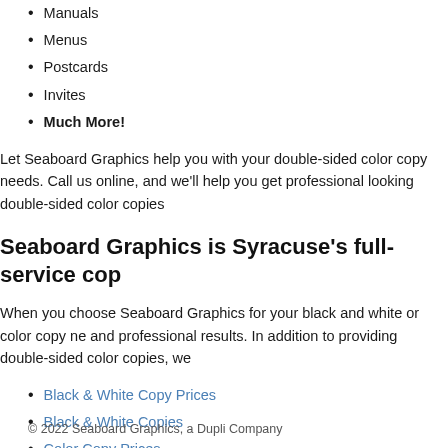Manuals
Menus
Postcards
Invites
Much More!
Let Seaboard Graphics help you with your double-sided color copy needs. Call us online, and we'll help you get professional looking double-sided color copies
Seaboard Graphics is Syracuse's full-service cop
When you choose Seaboard Graphics for your black and white or color copy needs, and professional results. In addition to providing double-sided color copies, we
Black & White Copy Prices
Black & White Copies
Color Copy Prices
Color Copies
Print Color Copies
© 2022 Seaboard Graphics, a Dupli Company